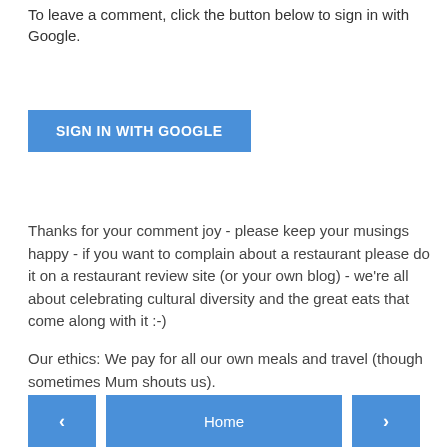To leave a comment, click the button below to sign in with Google.
[Figure (other): Blue button labeled 'SIGN IN WITH GOOGLE']
Thanks for your comment joy - please keep your musings happy - if you want to complain about a restaurant please do it on a restaurant review site (or your own blog) - we're all about celebrating cultural diversity and the great eats that come along with it :-)
Our ethics: We pay for all our own meals and travel (though sometimes Mum shouts us).
[Figure (other): Navigation row with left arrow button, Home button, and right arrow button]
View web version
Powered by Blogger.